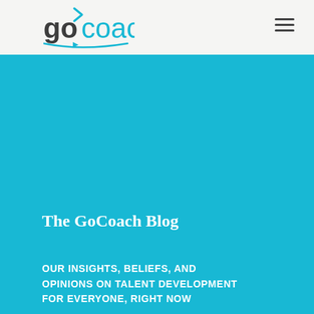[Figure (logo): GoCoach logo with teal/green arrow and text 'go coach' in dark gray and teal]
The GoCoach Blog
OUR INSIGHTS, BELIEFS, AND OPINIONS ON TALENT DEVELOPMENT FOR EVERYONE, RIGHT NOW